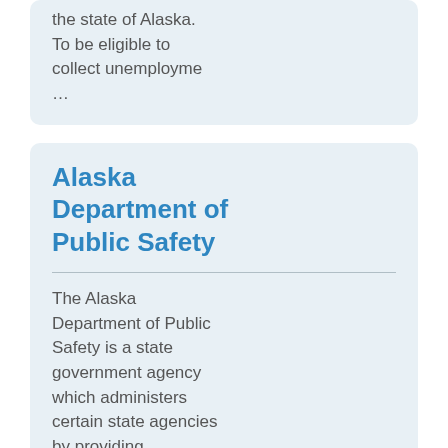the state of Alaska. To be eligible to collect unemployme ...
Alaska Department of Public Safety
The Alaska Department of Public Safety is a state government agency which administers certain state agencies by providing